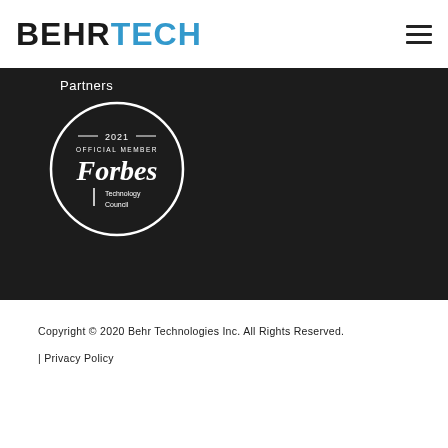BEHRTECH
Partners
[Figure (logo): Forbes Technology Council 2021 Official Member badge — circular white border on dark background with Forbes wordmark and 'Technology Council' text]
Copyright © 2020 Behr Technologies Inc. All Rights Reserved.
| Privacy Policy